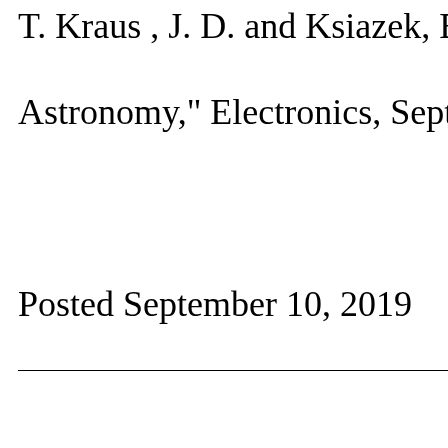T. Kraus , J. D. and Ksiazek, E.; "New Astronomy," Electronics, September 1
Posted September 10, 2019